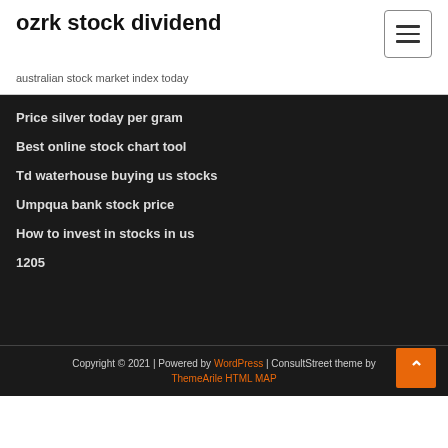ozrk stock dividend
australian stock market index today
Price silver today per gram
Best online stock chart tool
Td waterhouse buying us stocks
Umpqua bank stock price
How to invest in stocks in us
1205
Copyright © 2021 | Powered by WordPress | ConsultStreet theme by ThemeArile HTML MAP